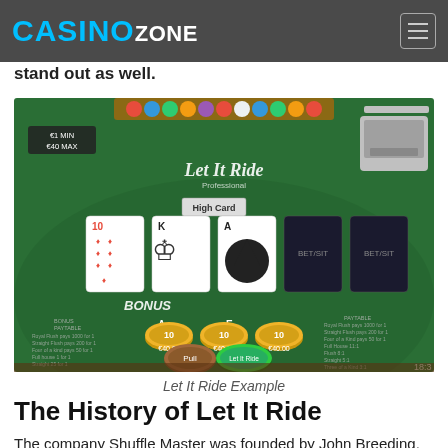CASINO ZONE
stand out as well.
[Figure (screenshot): Screenshot of the Let It Ride poker game showing a green casino table with cards (10 of diamonds, King of spades, Ace of spades, and two face-down cards), poker chips showing €40.00 each, a bonus section, paytable, and game controls including 'Pull' and 'Let It Ride' buttons. Bet limits show €1 MIN €40 MAX. The hand shows 'High Card'.]
Let It Ride Example
The History of Let It Ride
The company Shuffle Master was founded by John Breeding, and he is the man who invented Let It Ride. His